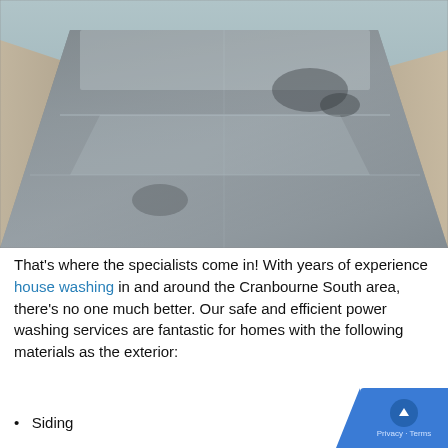[Figure (photo): Close-up photo of concrete paving stones or tiles being pressure washed, showing a wet dark grey surface with some stains visible, surrounded by gravel/sand at the edges.]
That's where the specialists come in! With years of experience house washing in and around the Cranbourne South area, there's no one much better. Our safe and efficient power washing services are fantastic for homes with the following materials as the exterior:
Siding